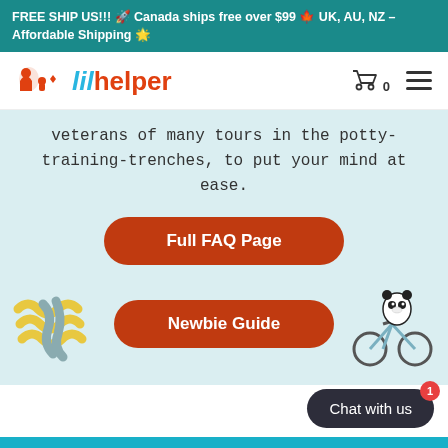FREE SHIP US!!! 🚀 Canada ships free over $99 🍁 UK, AU, NZ – Affordable Shipping 🌟
[Figure (logo): Lil Helper brand logo with orange baby/diaper icons and blue/orange text]
veterans of many tours in the potty-training-trenches, to put your mind at ease.
Full FAQ Page
[Figure (illustration): Decorative scribble/crayon doodle illustration on left side]
Newbie Guide
[Figure (illustration): Cartoon panda riding a bicycle on the right side]
Chat with us
Get 10% Off